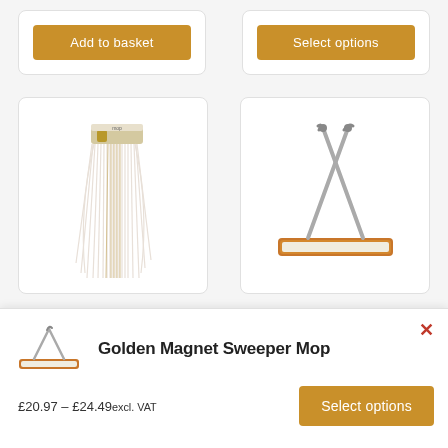[Figure (screenshot): E-commerce product listing page showing cleaning products with Add to basket and Select options buttons, mop and sweeper product images, and a popup for Golden Magnet Sweeper Mop with price £20.97 – £24.49 excl. VAT and Select options button]